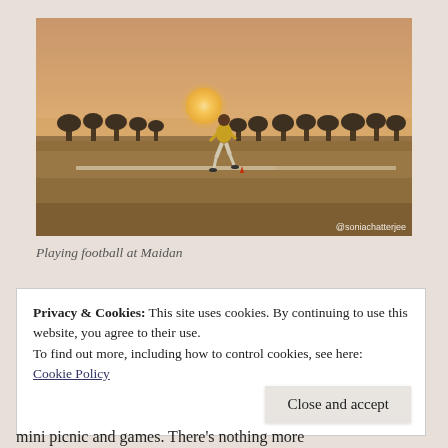[Figure (photo): A person playing football on a dry grass field at Maidan during sunset. The sky is orange with the sun visible as a bright orb. Trees line the horizon. A watermark '@soniachatterjee' is visible in the bottom right corner of the photo.]
Playing football at Maidan
Privacy & Cookies: This site uses cookies. By continuing to use this website, you agree to their use.
To find out more, including how to control cookies, see here:
Cookie Policy
Close and accept
mini picnic and games. There's nothing more